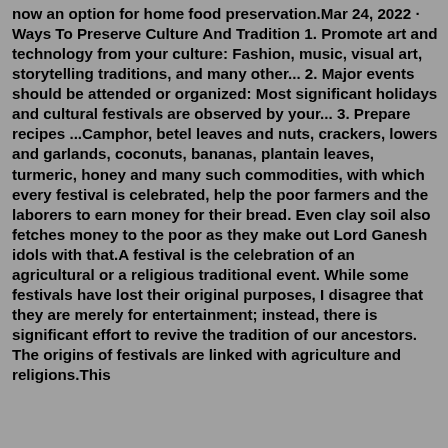now an option for home food preservation.Mar 24, 2022 · Ways To Preserve Culture And Tradition 1. Promote art and technology from your culture: Fashion, music, visual art, storytelling traditions, and many other... 2. Major events should be attended or organized: Most significant holidays and cultural festivals are observed by your... 3. Prepare recipes ...Camphor, betel leaves and nuts, crackers, lowers and garlands, coconuts, bananas, plantain leaves, turmeric, honey and many such commodities, with which every festival is celebrated, help the poor farmers and the laborers to earn money for their bread. Even clay soil also fetches money to the poor as they make out Lord Ganesh idols with that.A festival is the celebration of an agricultural or a religious traditional event. While some festivals have lost their original purposes, I disagree that they are merely for entertainment; instead, there is significant effort to revive the tradition of our ancestors. The origins of festivals are linked with agriculture and religions.This